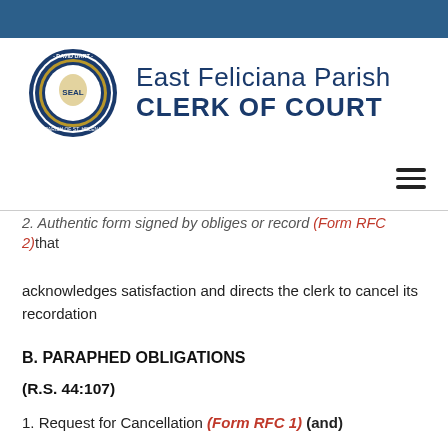[Figure (logo): East Feliciana Parish Clerk of Court seal and organization name logo]
2. Authentic form signed by obliges or record (Form RFC 2)that
acknowledges satisfaction and directs the clerk to cancel its recordation
B. PARAPHED OBLIGATIONS
(R.S. 44:107)
1. Request for Cancellation (Form RFC 1) (and)